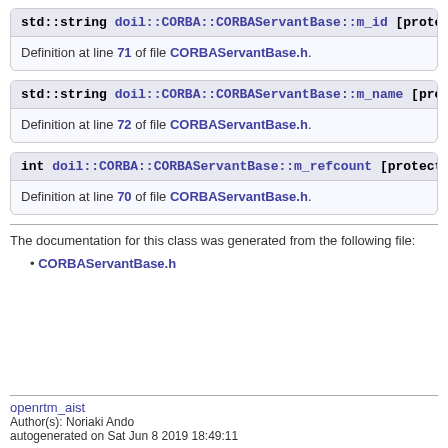std::string doil::CORBA::CORBAServantBase::m_id [protected]
Definition at line 71 of file CORBAServantBase.h.
std::string doil::CORBA::CORBAServantBase::m_name [protected]
Definition at line 72 of file CORBAServantBase.h.
int doil::CORBA::CORBAServantBase::m_refcount [protected]
Definition at line 70 of file CORBAServantBase.h.
The documentation for this class was generated from the following file:
CORBAServantBase.h
openrtm_aist
Author(s): Noriaki Ando
autogenerated on Sat Jun 8 2019 18:49:11